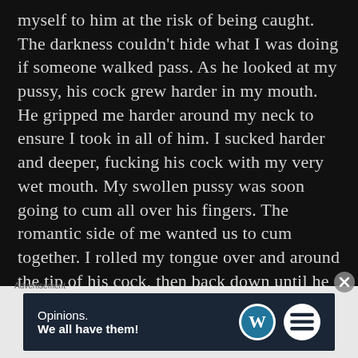myself to him at the risk of being caught. The darkness couldn't hide what I was doing if someone walked pass. As he looked at my pussy, his cock grew harder in my mouth. He gripped me harder around my neck to ensure I took in all of him. I sucked harder and deeper, fucking his cock with my very wet mouth. My swollen pussy was soon going to cum all over his fingers. The romantic side of me wanted us to cum together. I rolled my tongue over and around the tip of his cock, then back down until he was completely engulfed in my mouth. He couldn't help himself as he moved his hips up and down to my rhythm. He was fucking my mouth at the same
[Figure (other): Advertisement banner: dark navy background with text 'Opinions. We all have them!' on left, WordPress logo (white circle with W) and a round white button logo on right.]